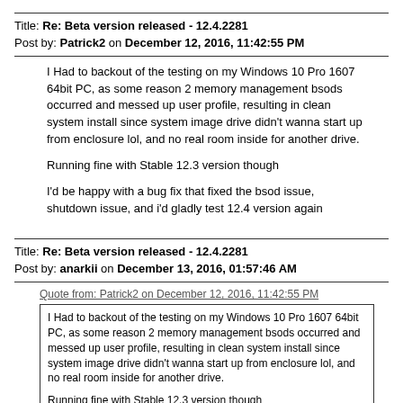Title: Re: Beta version released - 12.4.2281
Post by: Patrick2 on December 12, 2016, 11:42:55 PM
I Had to backout of the testing on my Windows 10 Pro 1607 64bit PC, as some reason 2 memory management bsods occurred and messed up user profile, resulting in clean system install since system image drive didn't wanna start up from enclosure lol, and no real room inside for another drive.
Running fine with Stable 12.3 version though
I'd be happy with a bug fix that fixed the bsod issue, shutdown issue, and i'd gladly test 12.4 version again
Title: Re: Beta version released - 12.4.2281
Post by: anarkii on December 13, 2016, 01:57:46 AM
Quote from: Patrick2 on December 12, 2016, 11:42:55 PM
I Had to backout of the testing on my Windows 10 Pro 1607 64bit PC, as some reason 2 memory management bsods occurred and messed up user profile, resulting in clean system install since system image drive didn't wanna start up from enclosure lol, and no real room inside for another drive.

Running fine with Stable 12.3 version though

I'd be happy with a bug fix that fixed the bsod issue, shutdown issue, and i'd gladly test 12.4 version again